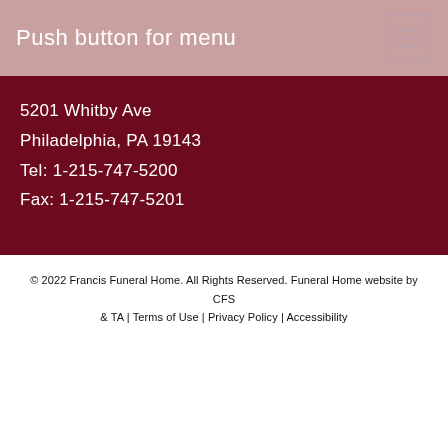Push button for menu
5201 Whitby Ave
Philadelphia, PA 19143
Tel: 1-215-747-5200
Fax: 1-215-747-5201
© 2022 Francis Funeral Home. All Rights Reserved. Funeral Home website by CFS & TA | Terms of Use | Privacy Policy | Accessibility